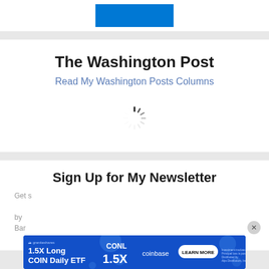[Figure (other): Blue rectangle banner at top of page]
The Washington Post
Read My Washington Posts Columns
[Figure (other): Loading spinner (circular dashed spinner animation)]
Sign Up for My Newsletter
Get s... ed by Bar...
[Figure (other): Advertisement banner: GraniteShares CONL 1.5X Long COIN Daily ETF coinbase LEARN MORE. Investment involves risk. Principal loss is possible. Distributed by Alps Distributors, Inc.]